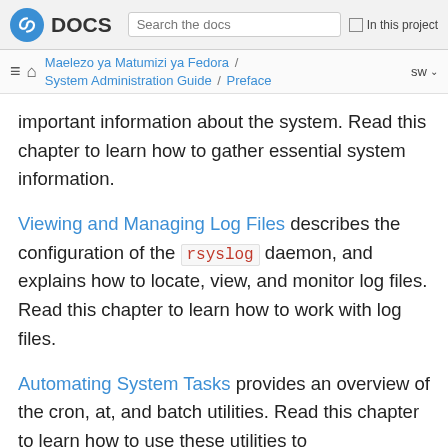DOCS | Search the docs | In this project
Maelezo ya Matumizi ya Fedora / System Administration Guide / Preface | sw
important information about the system. Read this chapter to learn how to gather essential system information.
Viewing and Managing Log Files describes the configuration of the rsyslog daemon, and explains how to locate, view, and monitor log files. Read this chapter to learn how to work with log files.
Automating System Tasks provides an overview of the cron, at, and batch utilities. Read this chapter to learn how to use these utilities to